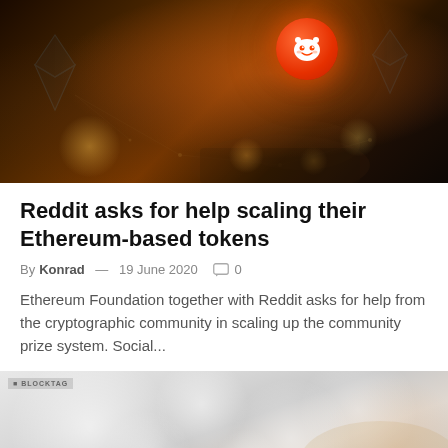[Figure (photo): A hand holding a glowing red Reddit alien logo orb against a dark background with Ethereum diamond symbols and glowing network dots]
Reddit asks for help scaling their Ethereum-based tokens
By Konrad — 19 June 2020  0
Ethereum Foundation together with Reddit asks for help from the cryptographic community in scaling up the community prize system. Social...
[Figure (photo): A blurred bokeh background image with blockchain/crypto theme, showing a BLOCKTAG watermark in the upper left corner]